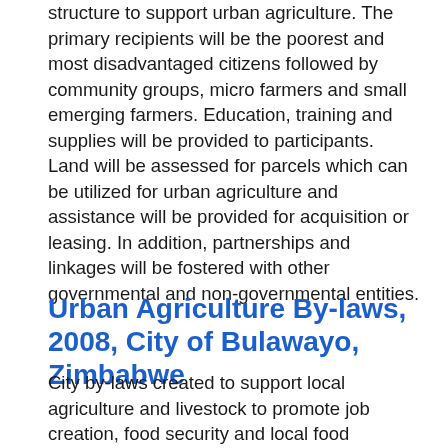structure to support urban agriculture. The primary recipients will be the poorest and most disadvantaged citizens followed by community groups, micro farmers and small emerging farmers. Education, training and supplies will be provided to participants. Land will be assessed for parcels which can be utilized for urban agriculture and assistance will be provided for acquisition or leasing. In addition, partnerships and linkages will be fostered with other governmental and non-governmental entities.
Urban Agriculture By-laws, 2008, City of Bulawayo, Zimbabwe
City by-laws created to support local agriculture and livestock to promote job creation, food security and local food production. The document also creates rules and regulations to be followed when cultivating farmlands